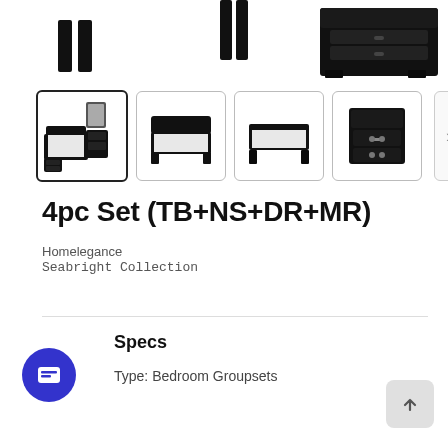[Figure (photo): Partial view of black bedroom furniture set at top of page — legs of bed frame on left, partial headboard in center, black dresser/chest on right]
[Figure (photo): Thumbnail gallery row with 4 product images: (1) selected — full 4pc bedroom set with bed, mirror, dresser, nightstand; (2) bed with headboard front view; (3) bed without headboard front view; (4) black 2-drawer nightstand. Navigation arrow on right.]
4pc Set (TB+NS+DR+MR)
Homelegance
Seabright Collection
Specs
Type: Bedroom Groupsets